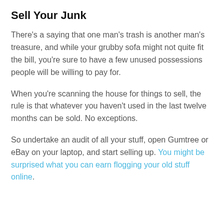Sell Your Junk
There's a saying that one man's trash is another man's treasure, and while your grubby sofa might not quite fit the bill, you're sure to have a few unused possessions people will be willing to pay for.
When you're scanning the house for things to sell, the rule is that whatever you haven't used in the last twelve months can be sold. No exceptions.
So undertake an audit of all your stuff, open Gumtree or eBay on your laptop, and start selling up. You might be surprised what you can earn flogging your old stuff online.